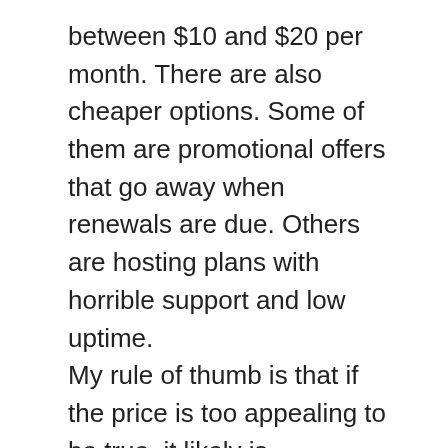between $10 and $20 per month. There are also cheaper options. Some of them are promotional offers that go away when renewals are due. Others are hosting plans with horrible support and low uptime.
My rule of thumb is that if the price is too appealing to be true, it likely is.
I don’t even think about getting promotional offers in order to save a few bucks.
For every website I’ve managed, I utilized the same host without changing.
Once you’ve found a host you’re happy with